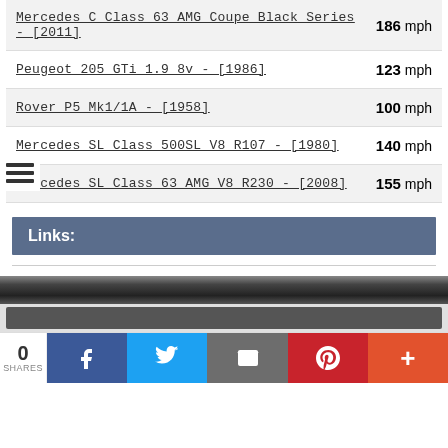Mercedes C Class 63 AMG Coupe Black Series - [2011] — 186 mph
Peugeot 205 GTi 1.9 8v - [1986] — 123 mph
Rover P5 Mk1/1A - [1958] — 100 mph
Mercedes SL Class 500SL V8 R107 - [1980] — 140 mph
Mercedes SL Class 63 AMG V8 R230 - [2008] — 155 mph
Links:
[Figure (photo): Dark textured photo strip]
[Figure (other): Dark navigation/banner bar]
0 SHARES — Social share bar with Facebook, Twitter, Email, Pinterest, More buttons